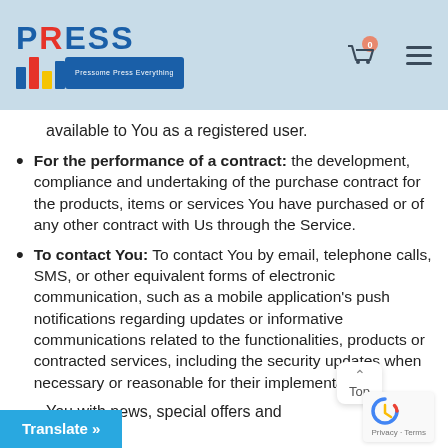[Figure (logo): PressM logo with blue text PRESS, colored bars, and tagline 'Pressome Press Everything' on a blue stripe]
available to You as a registered user.
For the performance of a contract: the development, compliance and undertaking of the purchase contract for the products, items or services You have purchased or of any other contract with Us through the Service.
To contact You: To contact You by email, telephone calls, SMS, or other equivalent forms of electronic communication, such as a mobile application's push notifications regarding updates or informative communications related to the functionalities, products or contracted services, including the security updates when necessary or reasonable for their implementation.
You with news, special offers and